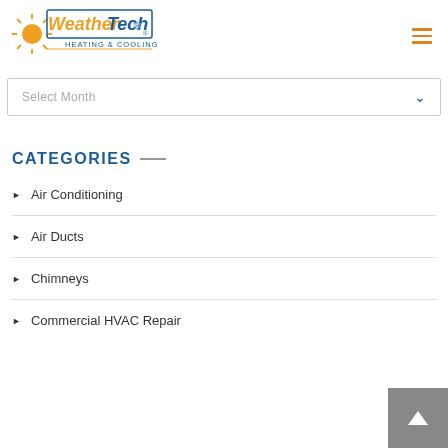[Figure (logo): Weather Tech Heating & Cooling logo with sun and snowflake icons]
Select Month
CATEGORIES
Air Conditioning
Air Ducts
Chimneys
Commercial HVAC Repair